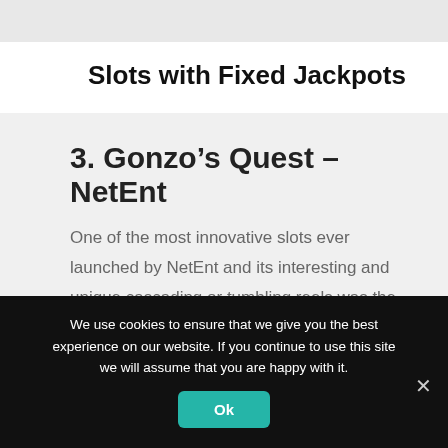Slots with Fixed Jackpots
3. Gonzo’s Quest – NetEnt
One of the most innovative slots ever launched by NetEnt and its interesting and unique cascading or tumbling reels was the talk of the online slots world for a long time.
We use cookies to ensure that we give you the best experience on our website. If you continue to use this site we will assume that you are happy with it.